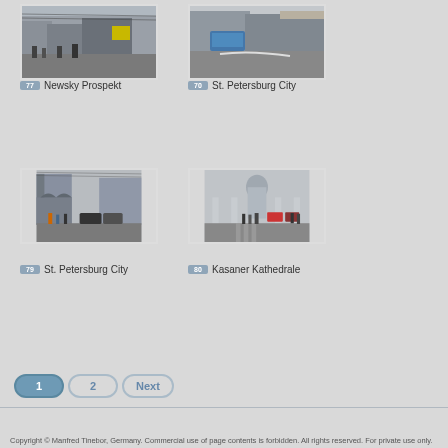[Figure (photo): Street view of Newsky Prospekt with pedestrians and buildings]
77 Newsky Prospekt
[Figure (photo): Street view of St. Petersburg City showing road and buildings]
70 St. Petersburg City
[Figure (photo): St. Petersburg City street with pedestrians and cars]
79 St. Petersburg City
[Figure (photo): Kasaner Kathedrale cathedral with people in foreground]
80 Kasaner Kathedrale
Copyright © Manfred Tinebor, Germany. Commercial use of page contents is forbidden. All rights reserved. For private use only.